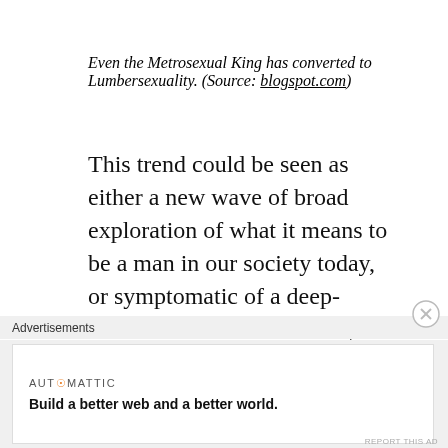Even the Metrosexual King has converted to Lumbersexuality. (Source: blogspot.com)
This trend could be seen as either a new wave of broad exploration of what it means to be a man in our society today, or symptomatic of a deep-seated ‘crisis’ of masculinity that so many have speculated about in the last year. Columnist Katie Glass certainly seemed to indorse the latter in her article for September’s Sunday
Advertisements
AUTOMATTIC
Build a better web and a better world.